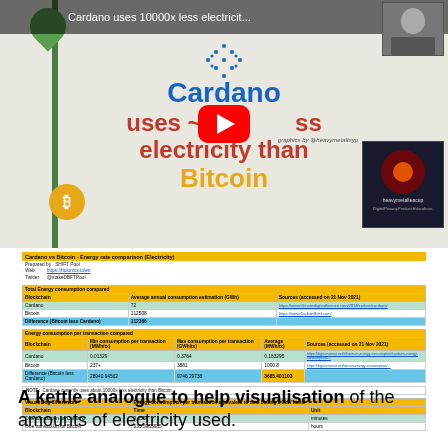[Figure (screenshot): YouTube video thumbnail showing 'Cardano uses 10000x less electricit...' with text overlay: Cardano uses ~10,000x less electricity than Bitcoin. Green plant stem on left, Bitcoin coin icon, red play button overlay, heavymetalteacup channel thumbnail on right, graphics by @heavymetaltsyp credit.]
| Cardano vs Bitcoin - Energy rate comparison (Electricity) |  |
| --- | --- |
| Prepared by | SHIFT Pool |
| Web | https://holonics.io/en |
| Twitter | @stakeDBFTPool |
| Total Energy consumption compared |  |
| --- | --- |
| Blockchain | Average annual consumption estimation (GWh) | Sources (accessed on 21 Nov 2021) |
| Cardano | 72 | https://www.climatealignedfinance.com/2018/carbon/cardano/ |
| Bitcoin | 112508 | https://www.CarbonBrief.com/ |
| Difference (Bitcoin less Cardano) | 112366 |  |
| Energy consumption per transaction compared |  |
| --- | --- |
| Blockchain | Min consumption per transaction (MWh/tx) | Max consumption per transaction (GWh/tx) | Average (MWh/tx) | Sources (accessed on 21 Nov 2021) |
| Cardano | 0.01329 | 0.3764 | 0.183295 | https://digiconomist.net/ethereum-energy-consumption/cardano-energy-consumption/... |
| Bitcoin | 237+ | 3881 | 1000.8 | https://digiconomist.net/bitcoin-energy-consumption/... |
| Difference (Bitcoin less Cardano) | 28940.94562 | 9746.29738 | 3685.401103 |  |
NOTE: Cardano currently uses about 10000x less electricity than Bitcoin.
| Visualising differences | Energy consumption per transaction equivalent to time boiling a 2kW kettle |
| --- | --- |
| Blockchain | Time | Unit |
| One transaction on Cardano | 0.6557 | minutes |
| One transaction on Bitcoin | 535.5985885 | hours |
A kettle analogue to help visualisation of the amounts of electricity used.